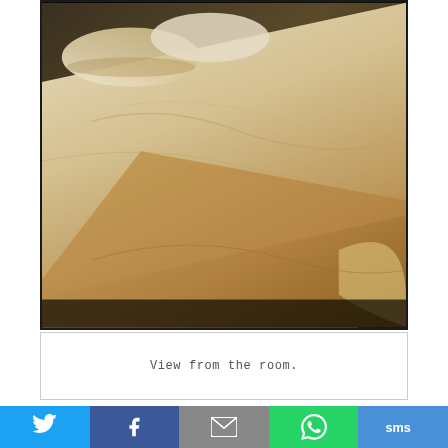[Figure (photo): Close-up photo of a hotel bed with cream/beige bedding and pillows, viewed from the foot of the bed at an angle, with carpeted floor visible]
View from the room.
The bed was glorious! Soft and very comfortable and they've given us 4 pillows on each bed which I found very rare for hotels even the luxury ones. I slept all the time with all
Twitter | Facebook | Email | WhatsApp | SMS